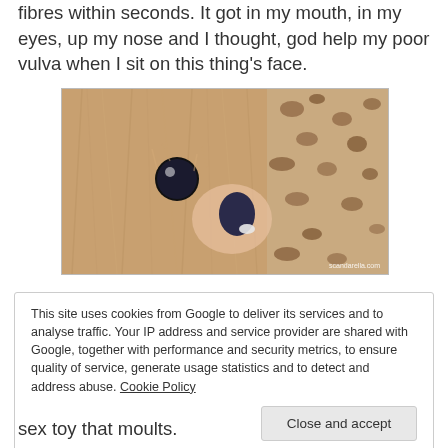fibres within seconds. It got in my mouth, in my eyes, up my nose and I thought, god help my poor vulva when I sit on this thing's face.
[Figure (photo): Close-up photo of a furry stuffed animal toy (lion or similar) with a black eye and dark nose, resting on a leopard-print fabric. Watermark reads 'scandarella.com'.]
This site uses cookies from Google to deliver its services and to analyse traffic. Your IP address and service provider are shared with Google, together with performance and security metrics, to ensure quality of service, generate usage statistics and to detect and address abuse. Cookie Policy
sex toy that moults.